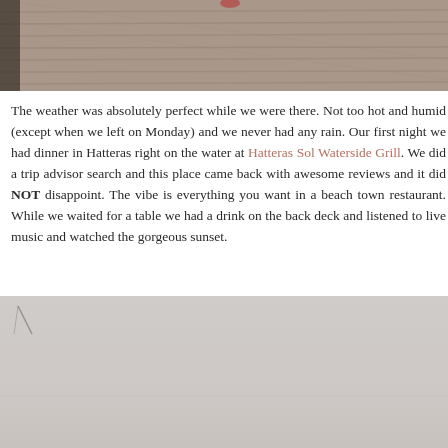[Figure (photo): Close-up photo of weathered wooden deck boards with grain texture, partial view of a red object at top]
The weather was absolutely perfect while we were there. Not too hot and humid (except when we left on Monday) and we never had any rain. Our first night we had dinner in Hatteras right on the water at Hatteras Sol Waterside Grill. We did a trip advisor search and this place came back with awesome reviews and it did NOT disappoint. The vibe is everything you want in a beach town restaurant. While we waited for a table we had a drink on the back deck and listened to live music and watched the gorgeous sunset.
[Figure (photo): Light gray/misty outdoor scene, appears to be a beach or waterfront view with minimal detail visible]